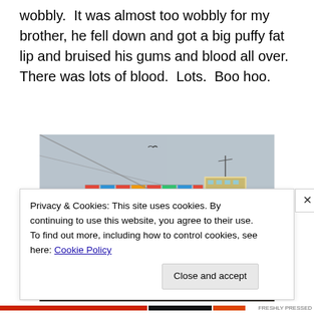wobbly.  It was almost too wobbly for my brother, he fell down and got a big puffy fat lip and bruised his gums and blood all over.  There was lots of blood.  Lots.  Boo hoo.
[Figure (photo): A large blue Maersk Line container ship loaded with colorful shipping containers, photographed from the deck of a smaller vessel on the water. The boat's mooring equipment is visible in the foreground.]
Privacy & Cookies: This site uses cookies. By continuing to use this website, you agree to their use.
To find out more, including how to control cookies, see here: Cookie Policy